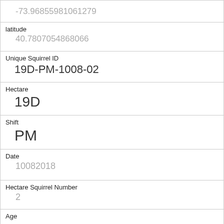| -73.96855981061279 |
| latitude | 40.7807054868066 |
| Unique Squirrel ID | 19D-PM-1008-02 |
| Hectare | 19D |
| Shift | PM |
| Date | 10082018 |
| Hectare Squirrel Number | 2 |
| Age |  |
| Primary Fur Color |  |
| Highlight Fur Color |  |
| Combination of Primary and Highlight Color |  |